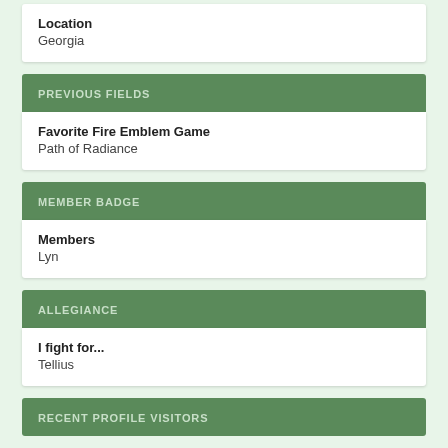Location
Georgia
PREVIOUS FIELDS
Favorite Fire Emblem Game
Path of Radiance
MEMBER BADGE
Members
Lyn
ALLEGIANCE
I fight for...
Tellius
RECENT PROFILE VISITORS